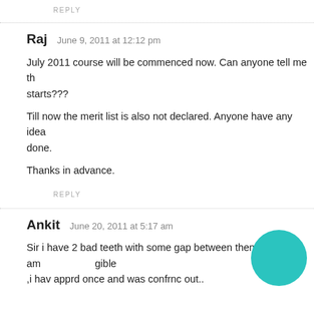REPLY
Raj   June 9, 2011 at 12:12 pm
July 2011 course will be commenced now. Can anyone tell me th... starts???
Till now the merit list is also not declared. Anyone have any idea... done.
Thanks in advance.
REPLY
Ankit   June 20, 2011 at 5:17 am
Sir i have 2 bad teeth with some gap between them am...gible ,i hav apprd once and was confrnc out..